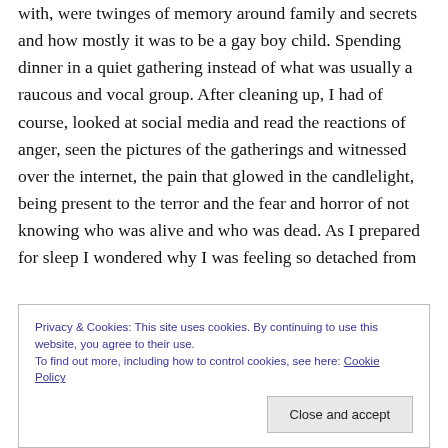with, were twinges of memory around family and secrets and how mostly it was to be a gay boy child. Spending dinner in a quiet gathering instead of what was usually a raucous and vocal group. After cleaning up, I had of course, looked at social media and read the reactions of anger, seen the pictures of the gatherings and witnessed over the internet, the pain that glowed in the candlelight, being present to the terror and the fear and horror of not knowing who was alive and who was dead. As I prepared for sleep I wondered why I was feeling so detached from
Privacy & Cookies: This site uses cookies. By continuing to use this website, you agree to their use.
To find out more, including how to control cookies, see here: Cookie Policy
Close and accept